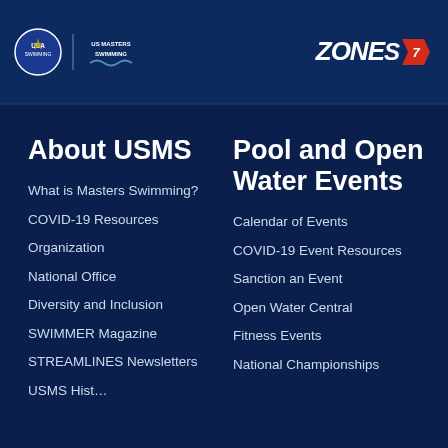USA Swimming / US Masters Swimming | ZONES7 logo
About USMS
What is Masters Swimming?
COVID-19 Resources
Organization
National Office
Diversity and Inclusion
SWIMMER Magazine
STREAMLINES Newsletters
USMS History
Pool and Open Water Events
Calendar of Events
COVID-19 Event Resources
Sanction an Event
Open Water Central
Fitness Events
National Championships